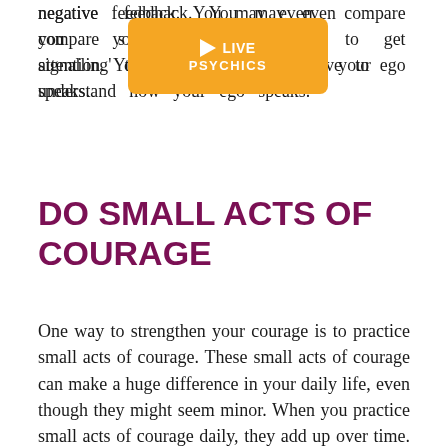negative feedback. You may even compare you… or 'virtue signalling' to get attention. You have to understand how your ego speaks.
[Figure (other): Orange video player button overlay with play triangle icon, text 'LIVE PSYCHICS']
DO SMALL ACTS OF COURAGE
One way to strengthen your courage is to practice small acts of courage. These small acts of courage can make a huge difference in your daily life, even though they might seem minor. When you practice small acts of courage daily, they add up over time. It is important to speak up for what is right and when you think something is wrong. This will build your